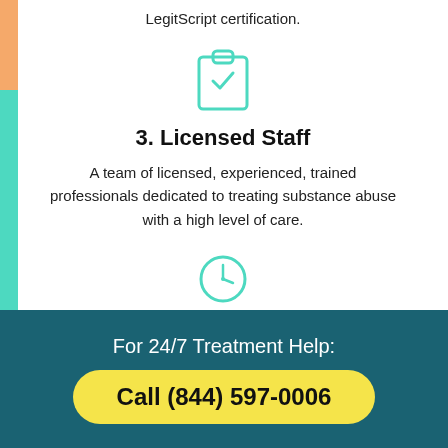LegitScript certification.
[Figure (illustration): Clipboard with checkmark icon in teal outline style]
3. Licensed Staff
A team of licensed, experienced, trained professionals dedicated to treating substance abuse with a high level of care.
[Figure (illustration): Clock icon in teal outline style]
4. Reputation
For 24/7 Treatment Help:
Call (844) 597-0006